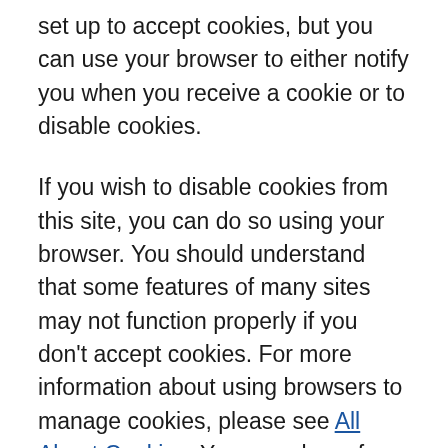set up to accept cookies, but you can use your browser to either notify you when you receive a cookie or to disable cookies.
If you wish to disable cookies from this site, you can do so using your browser. You should understand that some features of many sites may not function properly if you don't accept cookies. For more information about using browsers to manage cookies, please see All About Cookies. You can also refuse to accept Flash cookies from this website using Adobe's Flash management